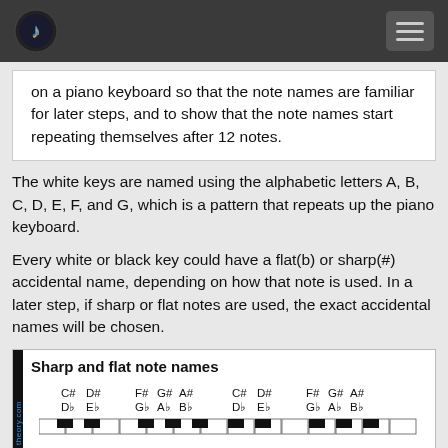music theory logo and navigation
on a piano keyboard so that the note names are familiar for later steps, and to show that the note names start repeating themselves after 12 notes.
The white keys are named using the alphabetic letters A, B, C, D, E, F, and G, which is a pattern that repeats up the piano keyboard.
Every white or black key could have a flat(b) or sharp(#) accidental name, depending on how that note is used. In a later step, if sharp or flat notes are used, the exact accidental names will be chosen.
[Figure (illustration): Sharp and flat note names diagram showing a piano keyboard with labeled black keys: C# D# / Db Eb, F# G# A# / Gb Ab Bb repeated twice, and piano keys at the bottom.]